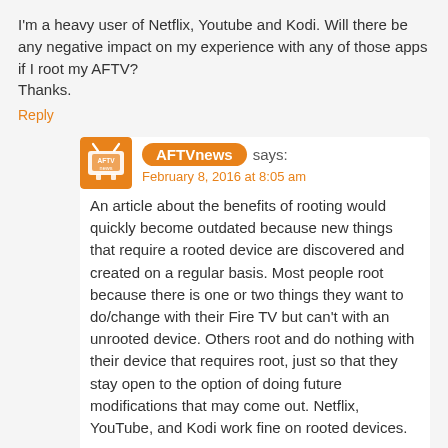I'm a heavy user of Netflix, Youtube and Kodi. Will there be any negative impact on my experience with any of those apps if I root my AFTV?
Thanks.
Reply
AFTVnews says:
February 8, 2016 at 8:05 am
An article about the benefits of rooting would quickly become outdated because new things that require a rooted device are discovered and created on a regular basis. Most people root because there is one or two things they want to do/change with their Fire TV but can't with an unrooted device. Others root and do nothing with their device that requires root, just so that they stay open to the option of doing future modifications that may come out. Netflix, YouTube, and Kodi work fine on rooted devices.
Reply